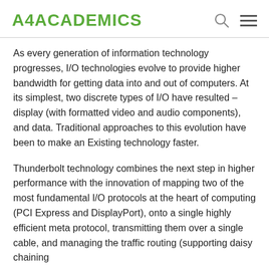A4ACADEMICS
As every generation of information technology progresses, I/O technologies evolve to provide higher bandwidth for getting data into and out of computers. At its simplest, two discrete types of I/O have resulted – display (with formatted video and audio components), and data. Traditional approaches to this evolution have been to make an Existing technology faster.
Thunderbolt technology combines the next step in higher performance with the innovation of mapping two of the most fundamental I/O protocols at the heart of computing (PCI Express and DisplayPort), onto a single highly efficient meta protocol, transmitting them over a single cable, and managing the traffic routing (supporting daisy chaining